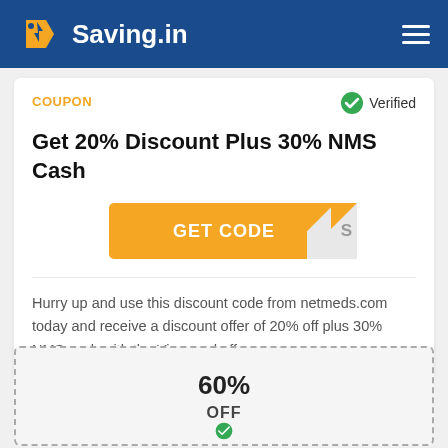Saving.in
COUPON
Verified
Get 20% Discount Plus 30% NMS Cash
GET CODE
Hurry up and use this discount code from netmeds.com today and receive a discount offer of 20% off plus 30% NMS cash with the Visa card offer
60%
OFF